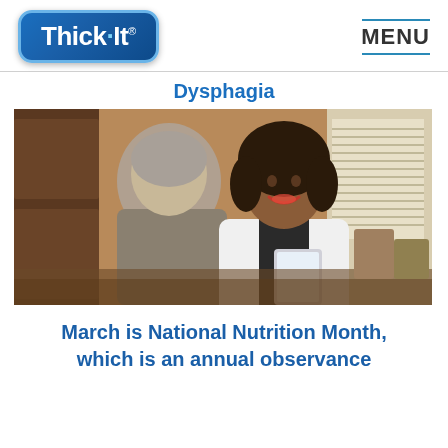[Figure (logo): Thick-It brand logo: blue rounded rectangle with white bold text 'Thick·It' and registered trademark symbol]
MENU
Dysphagia
[Figure (photo): A smiling female healthcare professional in a white coat holding a tablet or document, consulting with an elderly male patient in a home or clinical kitchen setting]
March is National Nutrition Month, which is an annual observance